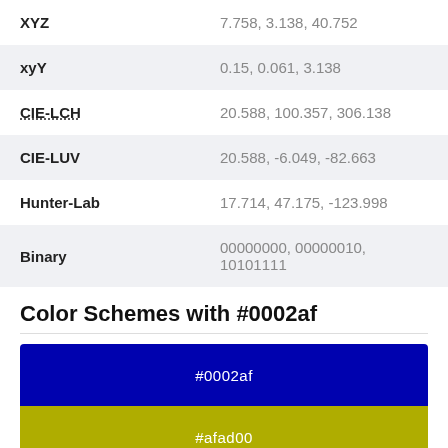| Property | Value |
| --- | --- |
| XYZ | 7.758, 3.138, 40.752 |
| xyY | 0.15, 0.061, 3.138 |
| CIE-LCH | 20.588, 100.357, 306.138 |
| CIE-LUV | 20.588, -6.049, -82.663 |
| Hunter-Lab | 17.714, 47.175, -123.998 |
| Binary | 00000000, 00000010, 10101111 |
Color Schemes with #0002af
[Figure (infographic): Two color swatches: top swatch is #0002af (dark blue), bottom swatch is #afad00 (olive/yellow)]